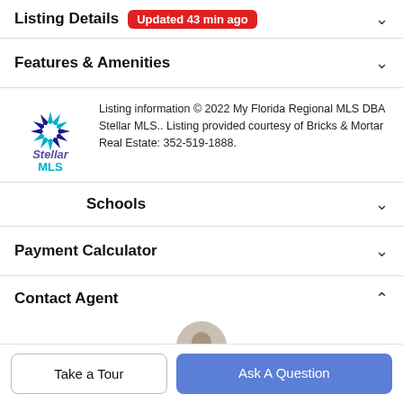Listing Details — Updated 43 min ago
Features & Amenities
Listing information © 2022 My Florida Regional MLS DBA Stellar MLS.. Listing provided courtesy of Bricks & Mortar Real Estate: 352-519-1888.
Schools
Payment Calculator
Contact Agent
Take a Tour
Ask A Question